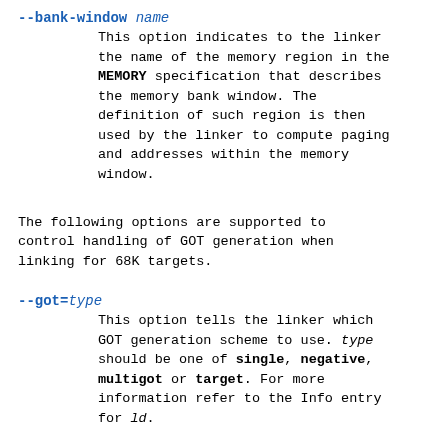--bank-window name
This option indicates to the linker the name of the memory region in the MEMORY specification that describes the memory bank window. The definition of such region is then used by the linker to compute paging and addresses within the memory window.
The following options are supported to control handling of GOT generation when linking for 68K targets.
--got=type
This option tells the linker which GOT generation scheme to use. type should be one of single, negative, multigot or target. For more information refer to the Info entry for ld.
The following options are supported to